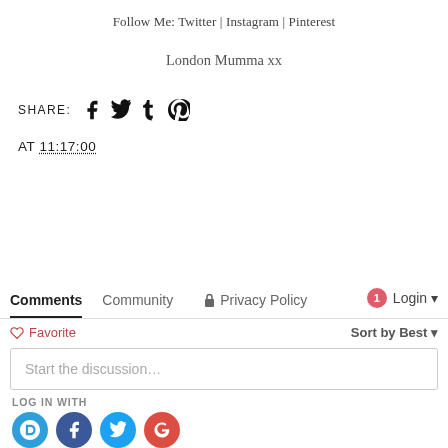Follow Me: Twitter | Instagram | Pinterest
London Mumma xx
SHARE: [facebook] [twitter] [tumblr] [pinterest]
AT 11:17:00
Comments  Community  🔒 Privacy Policy  🔴1  Login ▾
♡ Favorite   Sort by Best ▾
Start the discussion…
LOG IN WITH
[Figure (other): Social login icon buttons: Disqus (blue), Facebook (dark blue), Twitter (light blue), Google (red)]